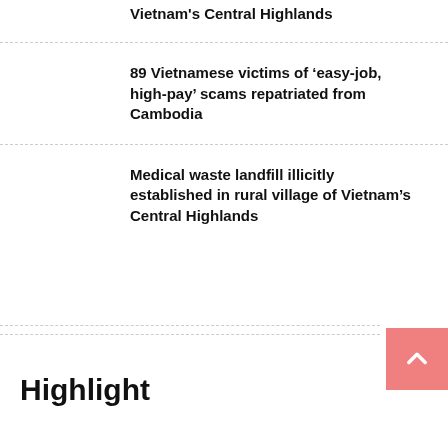Vietnam's Central Highlands
89 Vietnamese victims of 'easy-job, high-pay' scams repatriated from Cambodia
Medical waste landfill illicitly established in rural village of Vietnam's Central Highlands
Highlight